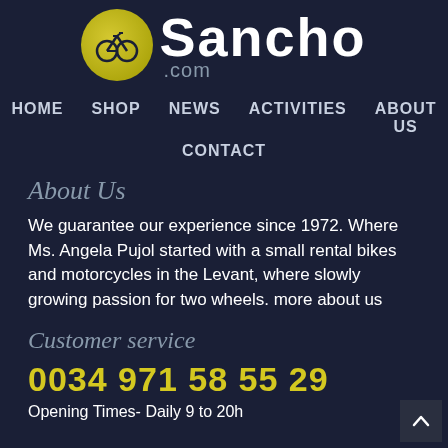[Figure (logo): GoSancho.com logo with yellow circle containing bicycle icon and white bold text 'Sancho' with '.com' subtitle in grey]
HOME   SHOP   NEWS   ACTIVITIES   ABOUT US   CONTACT
About Us
We guarantee our experience since 1972. Where Ms. Angela Pujol started with a small rental bikes and motorcycles in the Levant, where slowly growing passion for two wheels. more about us
Customer service
0034 971 58 55 29
Opening Times- Daily 9 to 20h